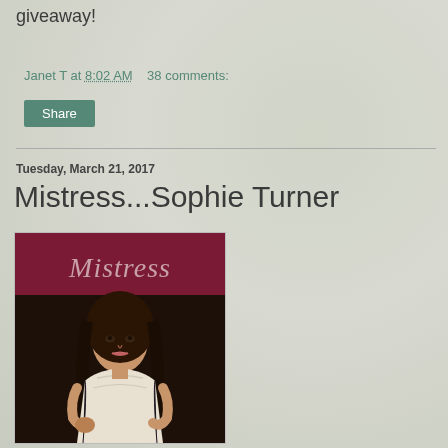giveaway!
Janet T at 8:02 AM    38 comments:
Share
Tuesday, March 21, 2017
Mistress...Sophie Turner
[Figure (photo): Book cover for 'Mistress' showing a Regency-era woman in a white dress with dark hair, against a dark background. The title 'Mistress' is written in cursive script on a dark crimson banner at the top.]